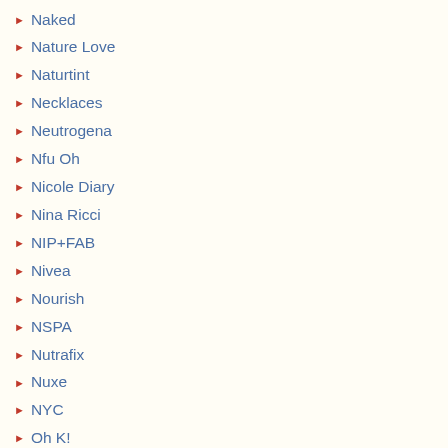Naked
Nature Love
Naturtint
Necklaces
Neutrogena
Nfu Oh
Nicole Diary
Nina Ricci
NIP+FAB
Nivea
Nourish
NSPA
Nutrafix
Nuxe
NYC
Oh K!
Olay
OM SHE Aromatherapy
Oriflame
Original Source